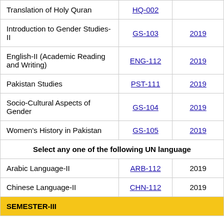| Course | Code | Year |
| --- | --- | --- |
| Translation of Holy Quran | HQ-002 |  |
| Introduction to Gender Studies-II | GS-103 | 2019 |
| English-II (Academic Reading and Writing) | ENG-112 | 2019 |
| Pakistan Studies | PST-111 | 2019 |
| Socio-Cultural Aspects of Gender | GS-104 | 2019 |
| Women's History in Pakistan | GS-105 | 2019 |
| Select any one of the following UN language |  |  |
| Arabic Language-II | ARB-112 | 2019 |
| Chinese Language-II | CHN-112 | 2019 |
| SEMESTER-III |  |  |